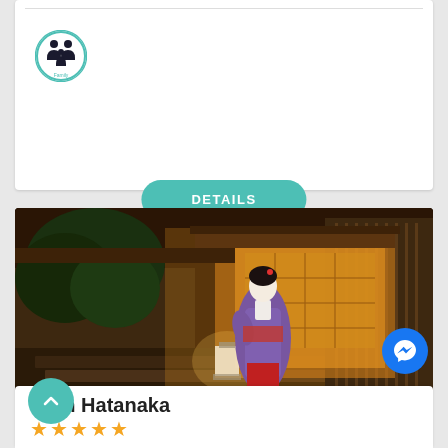[Figure (illustration): Family icon — two adults and a child silhouette inside a teal circle with 'Family' label]
DETAILS
[Figure (photo): A geisha in a purple kimono with red obi walking up stone steps at night outside a traditional Japanese building, with warm lantern light and garden greenery]
Gion Hatanaka ★★★★★